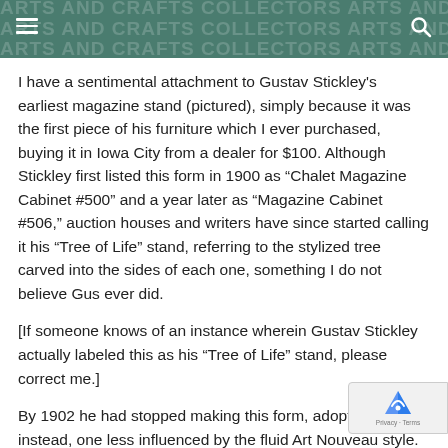ARTS AND CRAFTS COLLECTORS ARTS AND CRAFTS COLLECTORS ARTS AND CRAFTS COLLECTORS
I have a sentimental attachment to Gustav Stickley's earliest magazine stand (pictured), simply because it was the first piece of his furniture which I ever purchased, buying it in Iowa City from a dealer for $100. Although Stickley first listed this form in 1900 as “Chalet Magazine Cabinet #500” and a year later as “Magazine Cabinet #506,” auction houses and writers have since started calling it his “Tree of Life” stand, referring to the stylized tree carved into the sides of each one, something I do not believe Gus ever did.
[If someone knows of an instance wherein Gustav Stickley actually labeled this as his “Tree of Life” stand, please correct me.]
By 1902 he had stopped making this form, adopting instead, one less influenced by the fluid Art Nouveau style.